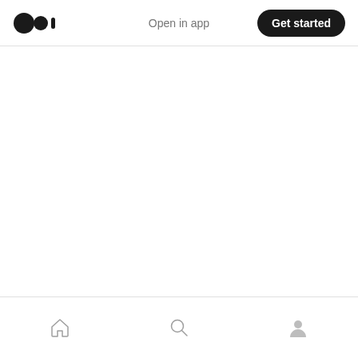Medium logo | Open in app | Get started
[Figure (screenshot): Empty white content area]
Home | Search | Profile navigation icons